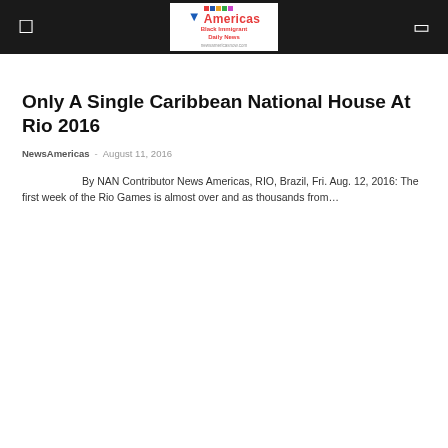Americas Black Immigrant Daily News
Only A Single Caribbean National House At Rio 2016
NewsAmericas - August 11, 2016
By NAN Contributor News Americas, RIO, Brazil, Fri. Aug. 12, 2016: The first week of the Rio Games is almost over and as thousands from...